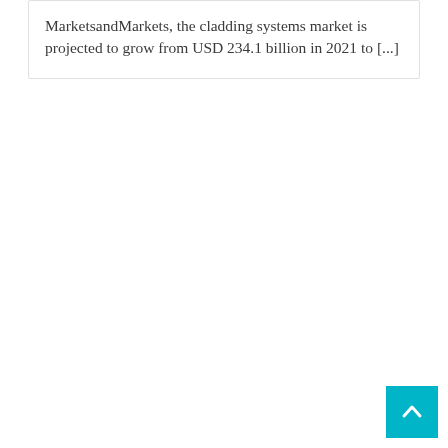MarketsandMarkets, the cladding systems market is projected to grow from USD 234.1 billion in 2021 to [...]
[Figure (other): Back to top button — a cyan/teal square with a white upward-pointing chevron arrow]